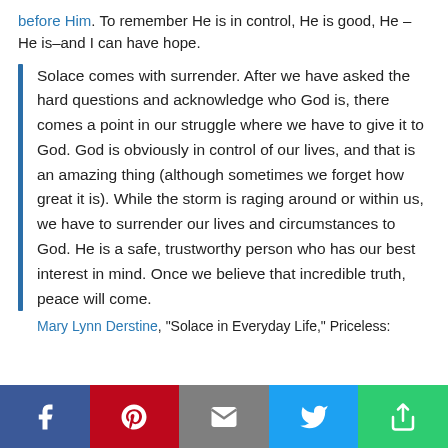before Him. To remember He is in control, He is good, He – He is–and I can have hope.
Solace comes with surrender. After we have asked the hard questions and acknowledge who God is, there comes a point in our struggle where we have to give it to God. God is obviously in control of our lives, and that is an amazing thing (although sometimes we forget how great it is). While the storm is raging around or within us, we have to surrender our lives and circumstances to God. He is a safe, trustworthy person who has our best interest in mind. Once we believe that incredible truth, peace will come.
Mary Lynn Derstine, "Solace in Everyday Life," Priceless:
f | P | [email] | [twitter] | [more]